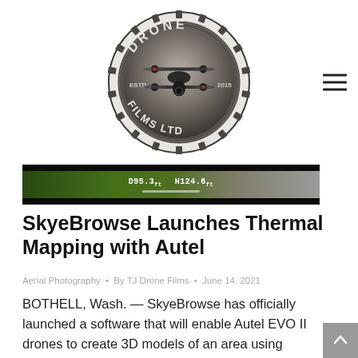[Figure (logo): Drone Films Ltd logo — a circular gear/badge with a DJI Inspire drone image, text reading DRONE at top, FILMS LTD at bottom, ESTD at left, 2015 at right]
[Figure (screenshot): Aerial thermal mapping screenshot strip showing green landscape with drone HUD overlay displaying D95.3 and H124.6 readings and a white progress bar]
SkyeBrowse Launches Thermal Mapping with Autel
Aerial Photography • By TJ Drone Films • June 14, 2021
BOTHELL, Wash. — SkyeBrowse has officially launched a software that will enable Autel EVO II drones to create 3D models of an area using thermal imaging. The thermal mapping software will enable